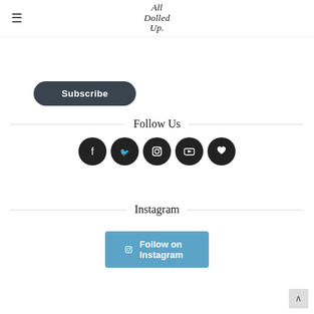All Dolled Up
[Figure (other): Subscribe button — dark rounded rectangle with white text 'Subscribe']
Follow Us
[Figure (other): Row of 5 dark circular social media icon buttons: Facebook, Twitter, Instagram, YouTube, Heart/Bloglovin]
Instagram
[Figure (other): Blue 'Follow on Instagram' button with Instagram icon]